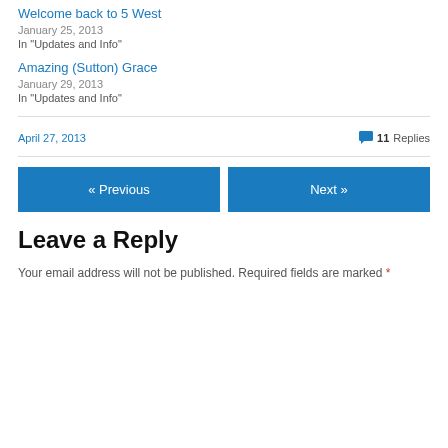Welcome back to 5 West
January 25, 2013
In "Updates and Info"
Amazing (Sutton) Grace
January 29, 2013
In "Updates and Info"
April 27, 2013
11 Replies
« Previous
Next »
Leave a Reply
Your email address will not be published. Required fields are marked *